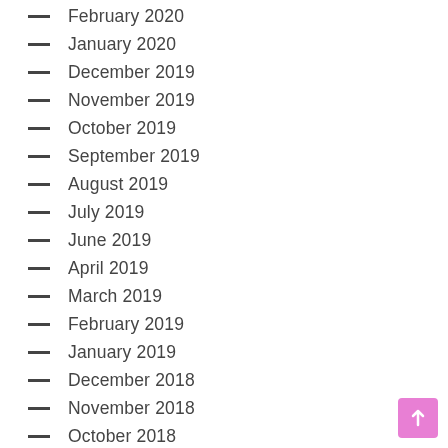February 2020
January 2020
December 2019
November 2019
October 2019
September 2019
August 2019
July 2019
June 2019
April 2019
March 2019
February 2019
January 2019
December 2018
November 2018
October 2018
September 2018